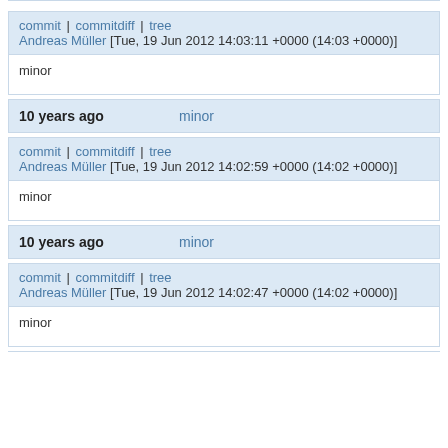commit | commitdiff | tree
Andreas Müller [Tue, 19 Jun 2012 14:03:11 +0000 (14:03 +0000)]
minor
10 years ago   minor
commit | commitdiff | tree
Andreas Müller [Tue, 19 Jun 2012 14:02:59 +0000 (14:02 +0000)]
minor
10 years ago   minor
commit | commitdiff | tree
Andreas Müller [Tue, 19 Jun 2012 14:02:47 +0000 (14:02 +0000)]
minor